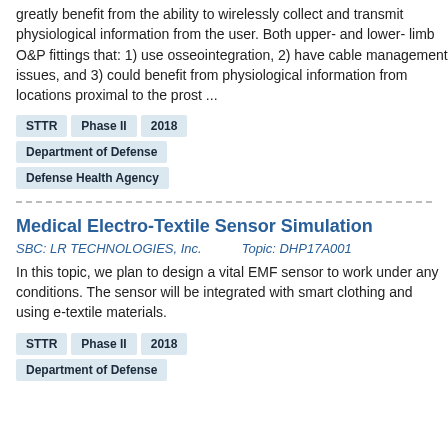greatly benefit from the ability to wirelessly collect and transmit physiological information from the user. Both upper- and lower-limb O&P fittings that: 1) use osseointegration, 2) have cable management issues, and 3) could benefit from physiological information from locations proximal to the prost ...
STTR
Phase II
2018
Department of Defense
Defense Health Agency
Medical Electro-Textile Sensor Simulation
SBC: LR TECHNOLOGIES, Inc.   Topic: DHP17A001
In this topic, we plan to design a vital EMF sensor to work under any conditions. The sensor will be integrated with smart clothing and using e-textile materials.
STTR
Phase II
2018
Department of Defense